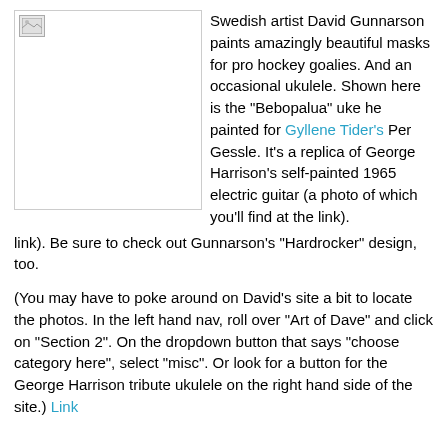[Figure (photo): Placeholder image of a painted ukulele by David Gunnarson]
Swedish artist David Gunnarson paints amazingly beautiful masks for pro hockey goalies. And an occasional ukulele. Shown here is the "Bebopalua" uke he painted for Gyllene Tider's Per Gessle. It's a replica of George Harrison's self-painted 1965 electric guitar (a photo of which you'll find at the link). Be sure to check out Gunnarson's "Hardrocker" design, too.
(You may have to poke around on David's site a bit to locate the photos. In the left hand nav, roll over "Art of Dave" and click on "Section 2". On the dropdown button that says "choose category here", select "misc". Or look for a button for the George Harrison tribute ukulele on the right hand side of the site.) Link